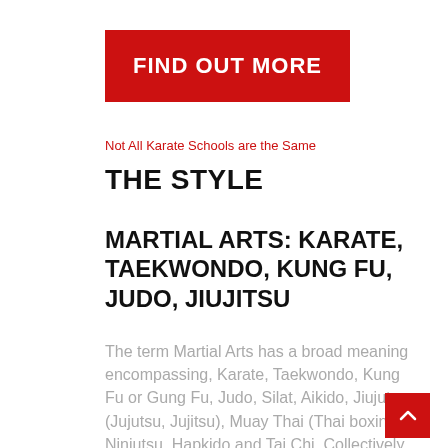[Figure (other): Red button with white bold text reading FIND OUT MORE]
Not All Karate Schools are the Same
THE STYLE
MARTIAL ARTS: KARATE, TAEKWONDO, KUNG FU, JUDO, JIUJITSU
The term Martial Arts has a broad meaning encompassing, Karate, Taekwondo, Kung Fu or Gung Fu, Judo, Silat, Aikido, Jiujutsu (Jujutsu, Jujitsu), Muay Thai (Thai boxing), Ninjutsu, Hapkido and Tai Chi. Collectively the Japanese Martial Arts are summarised by the term Budo (Warrior Way), in the